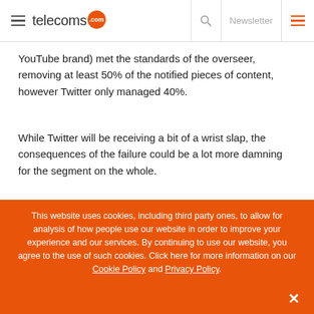telecoms.com | Newsletter
YouTube brand) met the standards of the overseer, removing at least 50% of the notified pieces of content, however Twitter only managed 40%.
While Twitter will be receiving a bit of a wrist slap, the consequences of the failure could be a lot more damning for the segment on the whole.
This website uses cookies, including third party ones, to allow for analysis of how people use our website in order to improve your experience and our services. By continuing to use our website, you agree to the use of such cookies. Click here for more information on our Cookie Policy and Privacy Policy.